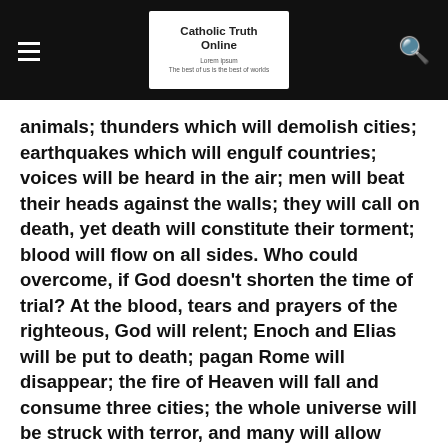Catholic Truth Online
animals; thunders which will demolish cities; earthquakes which will engulf countries; voices will be heard in the air; men will beat their heads against the walls; they will call on death, yet death will constitute their torment; blood will flow on all sides. Who could overcome, if God doesn't shorten the time of trial? At the blood, tears and prayers of the righteous, God will relent; Enoch and Elias will be put to death; pagan Rome will disappear; the fire of Heaven will fall and consume three cities; the whole universe will be struck with terror, and many will allow themselves to be seduced because they didn't adore the true Christ